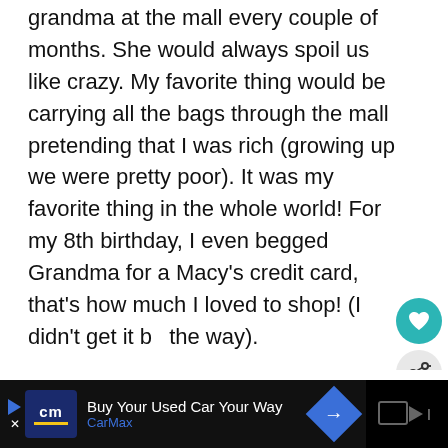grandma at the mall every couple of months. She would always spoil us like crazy. My favorite thing would be carrying all the bags through the mall pretending that I was rich (growing up we were pretty poor). It was my favorite thing in the whole world! For my 8th birthday, I even begged Grandma for a Macy's credit card, that's how much I loved to shop! (I didn't get it by the way).
[Figure (other): Floating UI elements: teal heart button, grey share button, and a 'What's Next' recommendation widget showing '20+ Must Have Modest Flor...']
[Figure (other): CarMax advertisement banner at bottom: dark background with CarMax logo, 'Buy Your Used Car Your Way' text, CarMax brand name, blue diamond arrow icon, and dark TV icon on the right.]